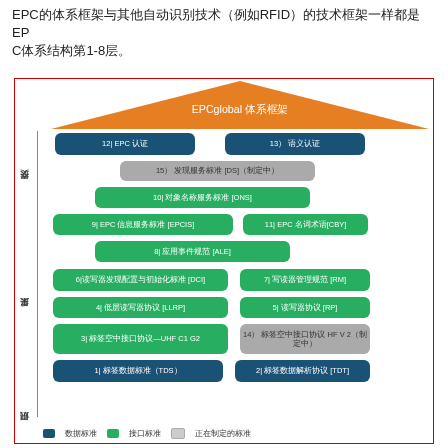EPC的体系框架与其他自动识别技术（例如RFID）的技术框架一样都是EP C体系结构第1-8层。
[Figure (infographic): EPCglobal体系架构图，展示交换层、采集层、识别层三个层次，包含EPC认证、语义认证、发现服务标准、对象名称服务标准、EPC信息服务标准、EPC名词术语、应用事件规范、读写器发现配置与初始化标准、写读器管理规范、低层读写器协议、读写器协议、标签空中接口协议UHF C1G2、标签空中接口协议HF V2、标签数据标准、标签数据解析协议等节点，顶部为EPCglobal体系框架橙色三角形屋顶，底部有图例：数据标准、接口标准、正在制定的标准]